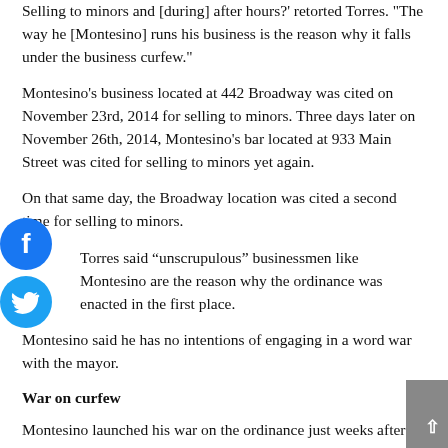Selling to minors and [during] after hours?' retorted Torres. 'The way he [Montesino] runs his business is the reason why it falls under the business curfew.'
Montesino's business located at 442 Broadway was cited on November 23rd, 2014 for selling to minors. Three days later on November 26th, 2014, Montesino's bar located at 933 Main Street was cited for selling to minors yet again.
On that same day, the Broadway location was cited a second time for selling to minors.
Torres said “unscrupulous” businessmen like Montesino are the reason why the ordinance was enacted in the first place.
Montesino said he has no intentions of engaging in a word war with the mayor.
War on curfew
Montesino launched his war on the ordinance just weeks after the regulation cleared through the council. He, along with a dozen business owners, filed an appeal with the New Jersey Division of Alcoholic Beverage Control (ABC).